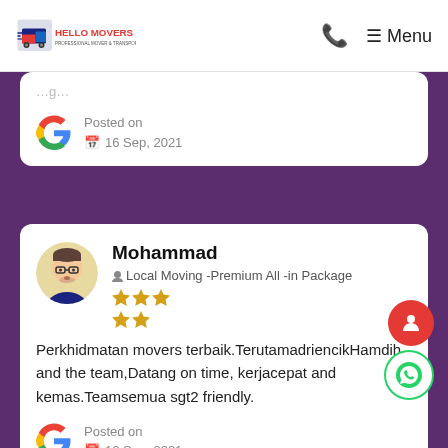Hello Movers | Menu
Posted on 16 Sep, 2021
Mohammad
Local Moving -Premium All -in Package ★★★★★
Perkhidmatan movers terbaik.TerutamadriencikHamdih and the team,Datang on time, kerjacepat and kemas.Teamsemua sgt2 friendly.
Posted on 12 Sep, 2021